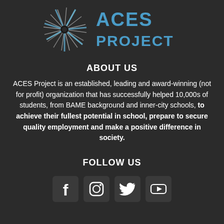[Figure (logo): ACES Project logo with a starburst/pinwheel graphic in grey and blue on the left, and 'ACES PROJECT' text in blue on the right]
ABOUT US
ACES Project is an established, leading and award-winning (not for profit) organization that has successfully helped 10,000s of students, from BAME background and inner-city schools, to achieve their fullest potential in school, prepare to secure quality employment and make a positive difference in society.
FOLLOW US
[Figure (illustration): Four social media icons in rounded square containers: Facebook (f), Instagram, Twitter (bird), YouTube (play button)]